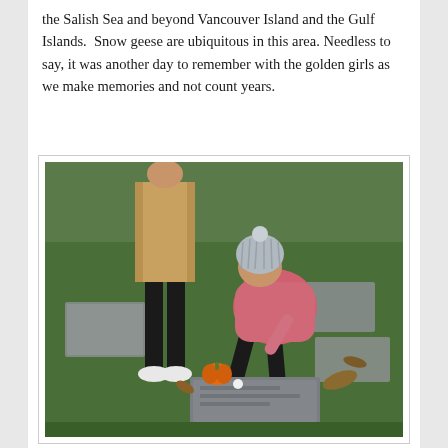the Salish Sea and beyond Vancouver Island and the Gulf Islands.  Snow geese are ubiquitous in this area. Needless to say, it was another day to remember with the golden girls as we make memories and not count years.
[Figure (photo): A young child in a grey knit pom-pom hat and pink jacket bending over a flat grave marker on green grass in a cemetery. A small orange pumpkin sits on the grave marker. An adult in a tan coat and black pants stands behind the child wearing white sneakers. Several flat grave markers are visible in the grass.]